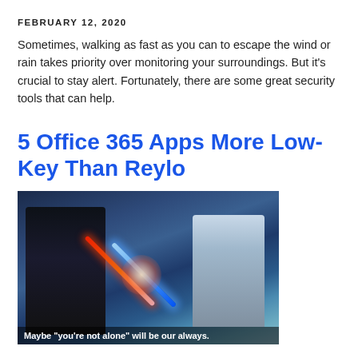FEBRUARY 12, 2020
Sometimes, walking as fast as you can to escape the wind or rain takes priority over monitoring your surroundings. But it's crucial to stay alert. Fortunately, there are some great security tools that can help.
5 Office 365 Apps More Low-Key Than Reylo
[Figure (photo): Two Star Wars characters facing each other with crossed lightsabers (one red, one blue) with caption 'Maybe "you're not alone" will be our always.']
FEBRUARY 05, 2020
When Rey kissed Kylo Ren upon her revival in Rise of